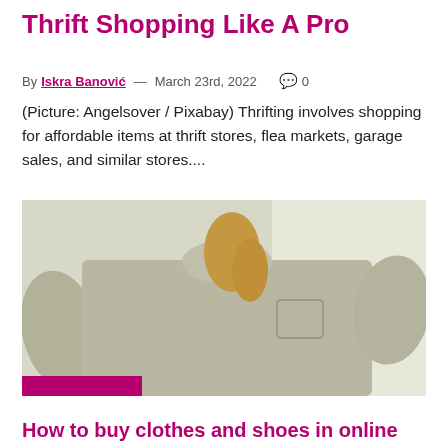Thrift Shopping Like A Pro
By Iskra Banović — March 23rd, 2022  💬 0
(Picture: Angelsover / Pixabay) Thrifting involves shopping for affordable items at thrift stores, flea markets, garage sales, and similar stores....
[Figure (photo): Person wearing an oversized grey/olive t-shirt with a chest pocket, blonde hair visible, white background, with a pink/magenta bar overlay at the bottom left]
How to buy clothes and shoes in online